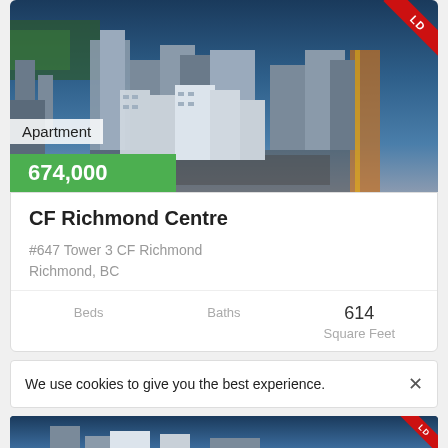[Figure (photo): Aerial view of CF Richmond Centre development with urban buildings and city lights]
Apartment
674,000
CF Richmond Centre
#647 Tower 3 CF Richmond
Richmond, BC
| Beds | Baths | Square Feet |
| --- | --- | --- |
|  |  | 614 |
We use cookies to give you the best experience.
[Figure (photo): Partial aerial view of second property listing, partially cut off]